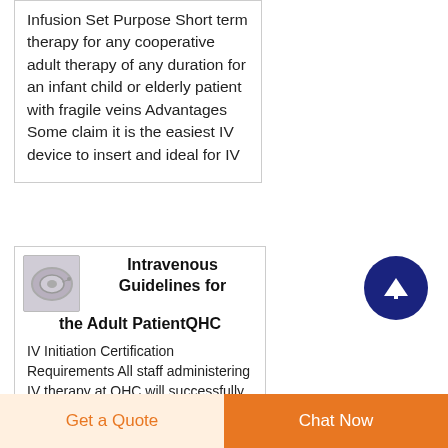Infusion Set Purpose Short term therapy for any cooperative adult therapy of any duration for an infant child or elderly patient with fragile veins Advantages Some claim it is the easiest IV device to insert and ideal for IV
[Figure (photo): Small thumbnail image of an IV infusion set device, circular coiled tubing visible]
Intravenous Guidelines for the Adult PatientQHC
IV Initiation Certification Requirements All staff administering IV therapy at QHC will successfully
Get a Quote
Chat Now